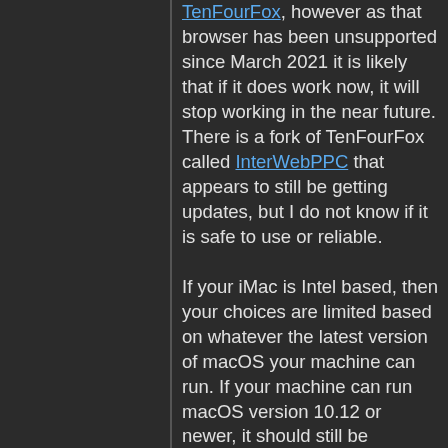TenFourFox, however as that browser has been unsupported since March 2021 it is likely that if it does work now, it will stop working in the near future. There is a fork of TenFourFox called InterWebPPC that appears to still be getting updates, but I do not know if it is safe to use or reliable.

If your iMac is Intel based, then your choices are limited based on whatever the latest version of macOS your machine can run. If your machine can run macOS version 10.12 or newer, it should still be supported by the latest version of Firefox and Google Chrome. If your machine can only run macOS versions 10.9-10.11, then unfortunately you're probably out of